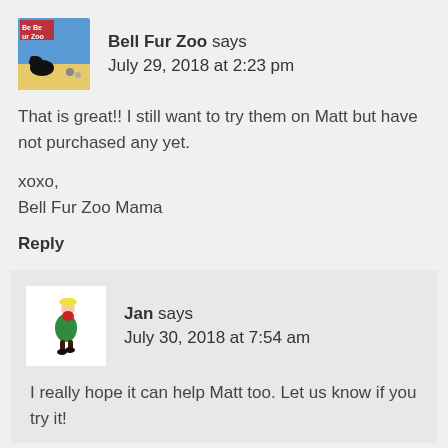[Figure (illustration): Bell Fur Zoo avatar: a colorful square image with a black dog and text 'Bell Fur Zoo' on a yellow/blue background]
Bell Fur Zoo says
July 29, 2018 at 2:23 pm
That is great!! I still want to try them on Matt but have not purchased any yet.

xoxo,
Bell Fur Zoo Mama
Reply
[Figure (illustration): Jan avatar: a small illustration of a person in a green dress and yellow hat walking]
Jan says
July 30, 2018 at 7:54 am
I really hope it can help Matt too. Let us know if you try it!